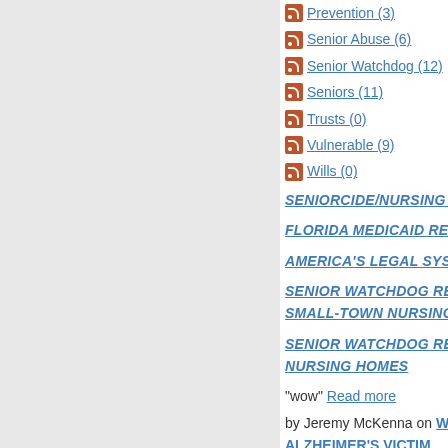Prevention (3)
Senior Abuse (6)
Senior Watchdog (12)
Seniors (11)
Trusts (0)
Vulnerable (9)
Wills (0)
SENIORCIDE/NURSING HOME A
FLORIDA MEDICAID RECIPIENT
AMERICA'S LEGAL SYSTEM AB
SENIOR WATCHDOG REPORT: SMALL-TOWN NURSING HOME
SENIOR WATCHDOG REPORT: NURSING HOMES
"wow" Read more
by Jeremy McKenna on WHEN TH ALZHEIMER'S VICTIM
abuse albert lea nursing home alzhe bud lee prison california in home care caregiving claire erickson conserv nursing home nursing ho